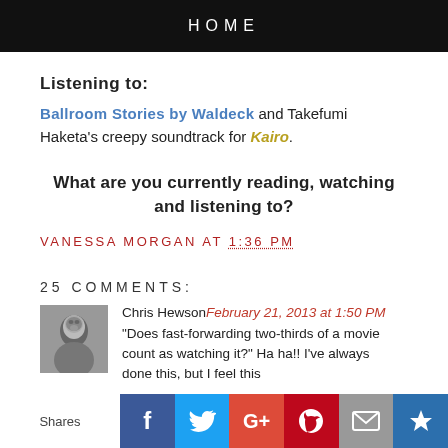HOME
Listening to:
Ballroom Stories by Waldeck and Takefumi Haketa's creepy soundtrack for Kairo.
What are you currently reading, watching and listening to?
VANESSA MORGAN AT 1:36 PM
25 COMMENTS:
Chris Hewson February 21, 2013 at 1:50 PM
"Does fast-forwarding two-thirds of a movie count as watching it?" Ha ha!! I've always done this, but I feel this
Shares